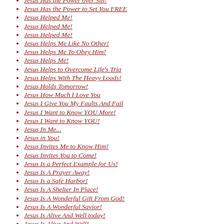Jesus Has the Power over Sin!
Jesus Has the Power to Set You FREE
Jesus Helped Me!
Jesus Helped Me!
Jesus Helped Me!
Jesus Helps Me Like No Other!
Jesus Helps Me To Obey Him!
Jesus Helps Me!
Jesus Helps to Overcome Life's Tria
Jesus Helps With The Heavy Loads!
Jesus Holds Tomorrow!
Jesus How Much I Love You
Jesus I Give You My Faults And Fail
Jesus I Want to Know YOU More!
Jesus I Want to Know YOU!
Jesus In Me...
Jesus in You!
Jesus Invites Me to Know Him!
Jesus Invites You to Come!
Jesus Is a Perfect Example for Us!
Jesus Is A Prayer Away!
Jesus Is a Safe Harbor!
Jesus Is A Shelter In Place!
Jesus Is A Wonderful Gift From God!
Jesus Is A Wonderful Savior!
Jesus Is Alive And Well today!
Jesus Is Alive And Well!
Jesus Is Alive!
Jesus Is All I Need!
Jesus Is All I Need!
Jesus Is All I Need!